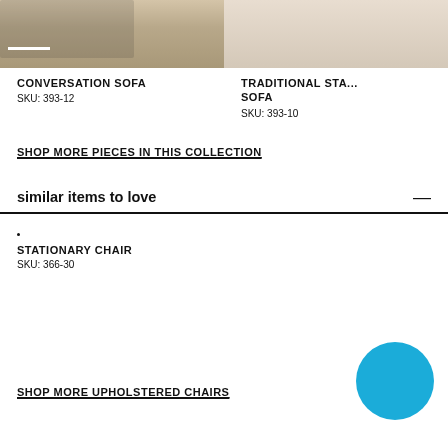[Figure (photo): Partial view of a conversation sofa with floral/toile pattern upholstery in black and white, on a neutral background]
[Figure (photo): Partial view of a traditional stationary sofa in neutral/cream fabric]
CONVERSATION SOFA
SKU: 393-12
TRADITIONAL STATIONARY SOFA
SKU: 393-10
SHOP MORE PIECES IN THIS COLLECTION
similar items to love
STATIONARY CHAIR
SKU: 366-30
SHOP MORE UPHOLSTERED CHAIRS